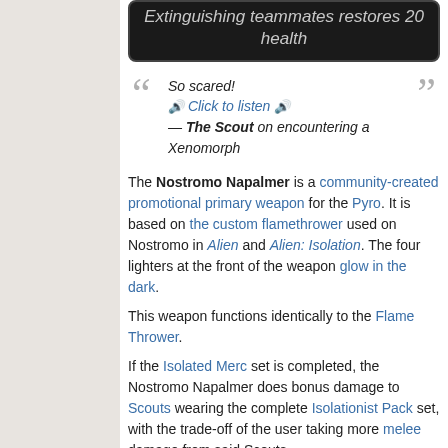Extinguishing teammates restores 20 health
So scared! Click to listen — The Scout on encountering a Xenomorph
The Nostromo Napalmer is a community-created promotional primary weapon for the Pyro. It is based on the custom flamethrower used on Nostromo in Alien and Alien: Isolation. The four lighters at the front of the weapon glow in the dark.
This weapon functions identically to the Flame Thrower.
If the Isolated Merc set is completed, the Nostromo Napalmer does bonus damage to Scouts wearing the complete Isolationist Pack set, with the trade-off of the user taking more melee damage from said Scouts